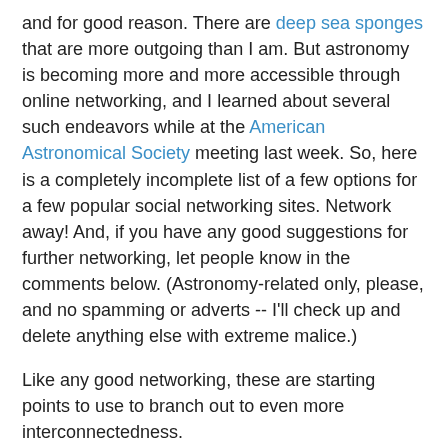and for good reason. There are deep sea sponges that are more outgoing than I am. But astronomy is becoming more and more accessible through online networking, and I learned about several such endeavors while at the American Astronomical Society meeting last week. So, here is a completely incomplete list of a few options for a few popular social networking sites. Network away! And, if you have any good suggestions for further networking, let people know in the comments below. (Astronomy-related only, please, and no spamming or adverts -- I'll check up and delete anything else with extreme malice.)
Like any good networking, these are starting points to use to branch out to even more interconnectedness.
Twitter:
MarsPhoenix -- a first-person update on the Mars Phoenix Mission, sent to your desktop from Mars.
astronomy2009 -- Updates on the 2009 International Year of Astronomy